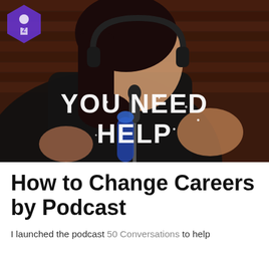[Figure (photo): A woman with long dark hair wearing headphones and a black hoodie, speaking in a podcast studio with a microphone in front of her, wooden panel background. Bold glittery text overlay reads 'YOU NEED HELP'. A small logo is visible in the top-left corner of the image.]
How to Change Careers by Podcast
I launched the podcast 50 Conversations to help